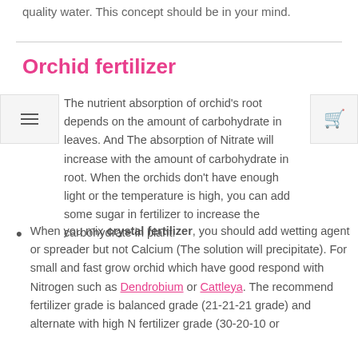quality water. This concept should be in your mind.
Orchid fertilizer
The nutrient absorption of orchid's root depends on the amount of carbohydrate in leaves. And The absorption of Nitrate will increase with the amount of carbohydrate in root. When the orchids don't have enough light or the temperature is high, you can add some sugar in fertilizer to increase the carbohydrate in plant.
When you mix crystal fertilizer, you should add wetting agent or spreader but not Calcium (The solution will precipitate). For small and fast grow orchid which have good respond with Nitrogen such as Dendrobium or Cattleya. The recommend fertilizer grade is balanced grade (21-21-21 grade) and alternate with high N fertilizer grade (30-20-10 or